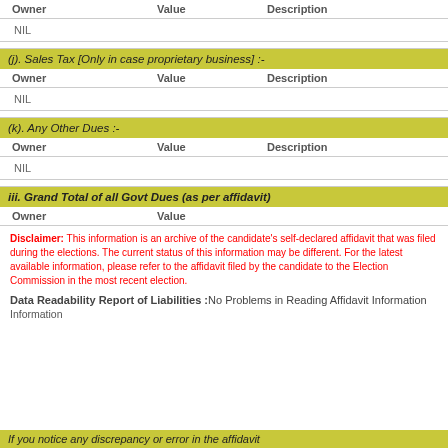| Owner | Value | Description |
| --- | --- | --- |
| NIL |  |  |
(j). Sales Tax [Only in case proprietary business] :-
| Owner | Value | Description |
| --- | --- | --- |
| NIL |  |  |
(k). Any Other Dues :-
| Owner | Value | Description |
| --- | --- | --- |
| NIL |  |  |
iii. Grand Total of all Govt Dues (as per affidavit)
| Owner | Value |
| --- | --- |
Disclaimer: This information is an archive of the candidate’s self-declared affidavit that was filed during the elections. The current status of this information may be different. For the latest available information, please refer to the affidavit filed by the candidate to the Election Commission in the most recent election.
Data Readability Report of Liabilities :No Problems in Reading Affidavit Information
If you notice any discrepancy or error in the affidavit